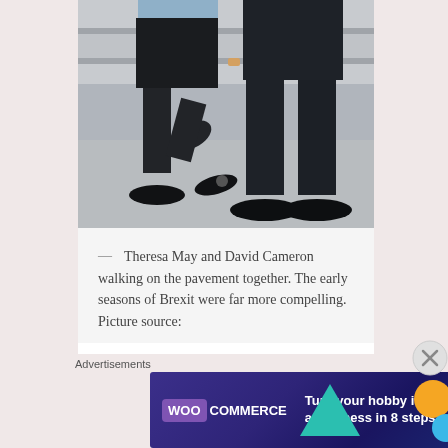[Figure (photo): Cropped photo showing the lower bodies and legs of two people walking side by side on pavement. One person (left) wears a dark skirt, black tights, and dark flat shoes; the other (right) wears dark suit trousers and black dress shoes. Stone steps are visible in the background.]
— Theresa May and David Cameron walking on the pavement together. The early seasons of Brexit were far more compelling. Picture source:
Advertisements
[Figure (screenshot): WooCommerce advertisement banner with purple/dark blue gradient background. Shows WooCommerce logo on left, teal triangle and orange/blue circles as decorative shapes, text reading: Turn your hobby into a business in 8 steps]